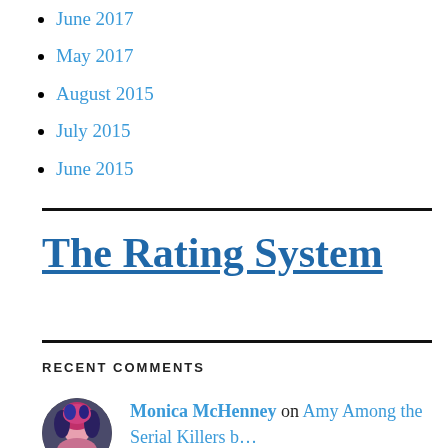June 2017
May 2017
August 2015
July 2015
June 2015
The Rating System
RECENT COMMENTS
Monica McHenney on Amy Among the Serial Killers b…